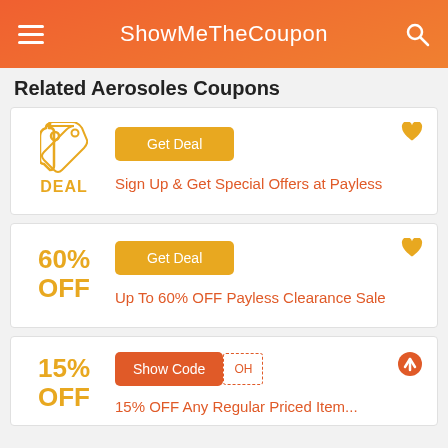ShowMeTheCoupon
Related Aerosoles Coupons
Get Deal | Sign Up & Get Special Offers at Payless
Get Deal | 60% OFF | Up To 60% OFF Payless Clearance Sale
Show Code | 15% OFF | 15% OFF Any Regular Priced Item...